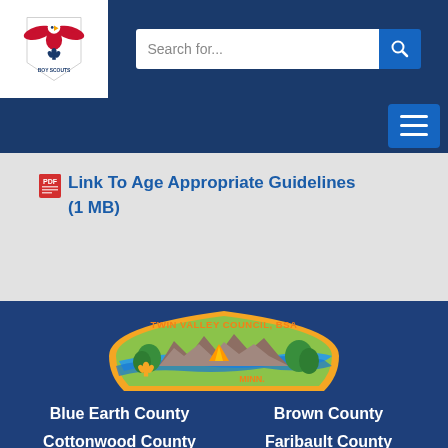[Figure (logo): BSA Boy Scouts of America logo - eagle with fleur-de-lis in red, white, and blue]
[Figure (screenshot): Search bar with 'Search for...' placeholder text and blue search button]
[Figure (screenshot): Hamburger menu button with three horizontal lines]
Link To Age Appropriate Guidelines (1 MB)
[Figure (illustration): Twin Valley Council BSA embroidered patch showing a landscape with mountains, river, trees, a tent, and fleur-de-lis symbol. Text reads 'TWIN VALLEY COUNCIL BSA' and 'MINN.' with an orange border.]
Blue Earth County
Brown County
Cottonwood County
Faribault County